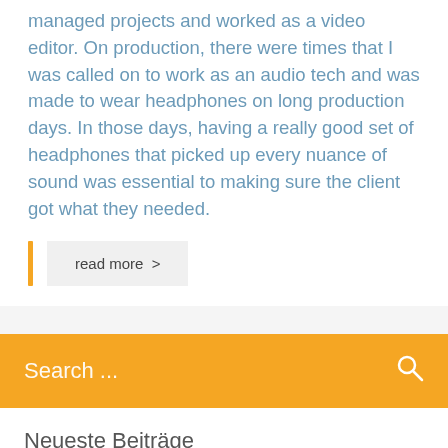managed projects and worked as a video editor. On production, there were times that I was called on to work as an audio tech and was made to wear headphones on long production days. In those days, having a really good set of headphones that picked up every nuance of sound was essential to making sure the client got what they needed.
read more >
Search ...
Neueste Beiträge
ANGEBOT HOLEN
Warum Livestreaming?